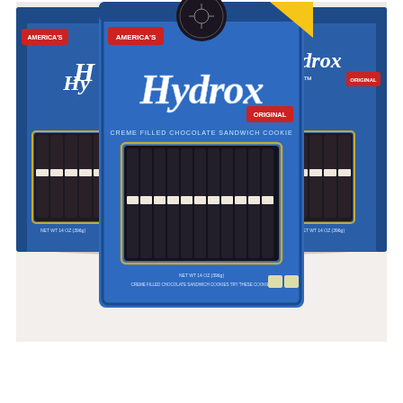[Figure (photo): Three packages of Hydrox cookies — America's Original chocolate sandwich cookies — displayed in blue packaging. The center package is larger and in the foreground, with two additional packages of the same product on either left and right sides. Each package shows a clear window revealing rows of dark chocolate sandwich cookies inside. The packages are labeled 'America's Hydrox Original' with a red badge reading 'America's Original'. The cookies are displayed on a white/light surface.]